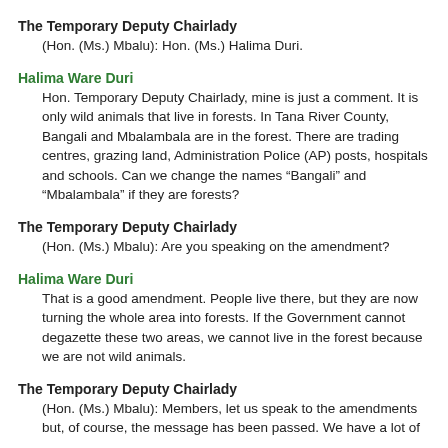The Temporary Deputy Chairlady
(Hon. (Ms.) Mbalu): Hon. (Ms.) Halima Duri.
Halima Ware Duri
Hon. Temporary Deputy Chairlady, mine is just a comment. It is only wild animals that live in forests. In Tana River County, Bangali and Mbalambala are in the forest. There are trading centres, grazing land, Administration Police (AP) posts, hospitals and schools. Can we change the names “Bangali” and “Mbalambala” if they are forests?
The Temporary Deputy Chairlady
(Hon. (Ms.) Mbalu): Are you speaking on the amendment?
Halima Ware Duri
That is a good amendment. People live there, but they are now turning the whole area into forests. If the Government cannot degazette these two areas, we cannot live in the forest because we are not wild animals.
The Temporary Deputy Chairlady
(Hon. (Ms.) Mbalu): Members, let us speak to the amendments but, of course, the message has been passed. We have a lot of